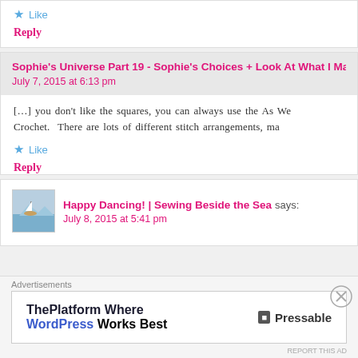Like
Reply
Sophie's Universe Part 19 - Sophie's Choices + Look At What I Made
July 7, 2015 at 6:13 pm
[...] you don't like the squares, you can always use the As We Crochet. There are lots of different stitch arrangements, ma
Like
Reply
Happy Dancing! | Sewing Beside the Sea says:
July 8, 2015 at 5:41 pm
Advertisements
[Figure (infographic): Pressable WordPress advertisement: 'ThePlatform Where WordPress Works Best' with Pressable logo]